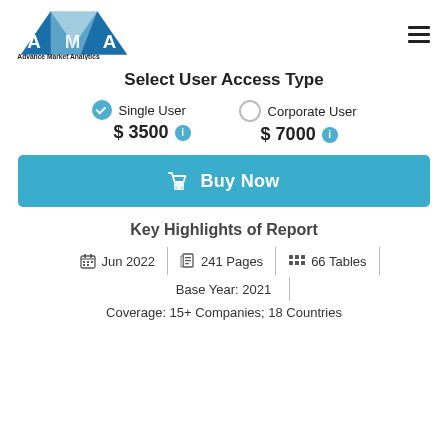[Figure (logo): AMA - Advance Market Analytics logo with blue triangle/diamond shapes and text]
Select User Access Type
Single User $3500 (selected) | Corporate User $7000
Buy Now
Key Highlights of Report
Jun 2022 | 241 Pages | 66 Tables
Base Year: 2021
Coverage: 15+ Companies; 18 Countries